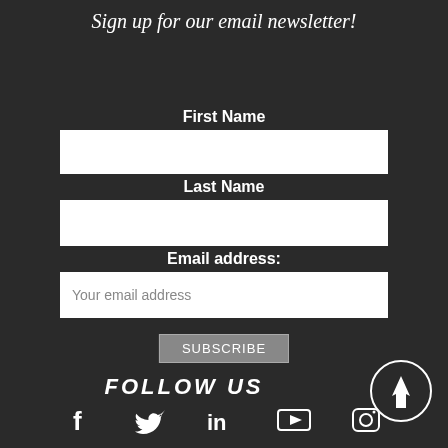Sign up for our email newsletter!
First Name
[Figure (other): Empty first name input field (white rectangle)]
Last Name
[Figure (other): Empty last name input field (white rectangle)]
Email address:
[Figure (other): Email address input field with placeholder text 'Your email address']
SUBSCRIBE
FOLLOW US
[Figure (other): Circular scroll-to-top button with upward arrow icon]
[Figure (other): Social media icons: Facebook, Twitter, LinkedIn, YouTube, Instagram]